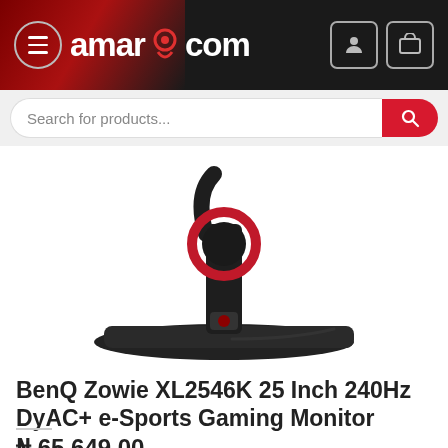amarpc.com
Search for products...
[Figure (photo): BenQ Zowie XL2546K gaming monitor stand and base, dark background, red accent ring visible on stand]
BenQ Zowie XL2546K 25 Inch 240Hz DyAC+ e-Sports Gaming Monitor
₦ 65,649.00